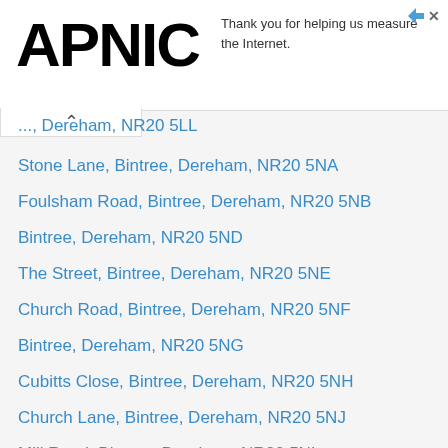[Figure (logo): APNIC logo in black bold text]
Thank you for helping us measure the Internet.
..., Dereham, NR20 5LL (partial, truncated)
Stone Lane, Bintree, Dereham, NR20 5NA
Foulsham Road, Bintree, Dereham, NR20 5NB
Bintree, Dereham, NR20 5ND
The Street, Bintree, Dereham, NR20 5NE
Church Road, Bintree, Dereham, NR20 5NF
Bintree, Dereham, NR20 5NG
Cubitts Close, Bintree, Dereham, NR20 5NH
Church Lane, Bintree, Dereham, NR20 5NJ
Mill Road, Bintree, Dereham, NR20 5NL
Mill Road, Bintree, Dereham, NR20 5NN
Bintree, Dereham, NR20 5NP
Bintree, Dereham, NR20 5NQ
Fludges Lane, Brisley, Dereham, NR20 5NR (partial, truncated)